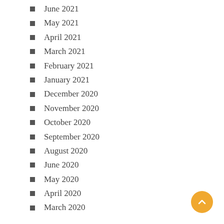June 2021
May 2021
April 2021
March 2021
February 2021
January 2021
December 2020
November 2020
October 2020
September 2020
August 2020
June 2020
May 2020
April 2020
March 2020